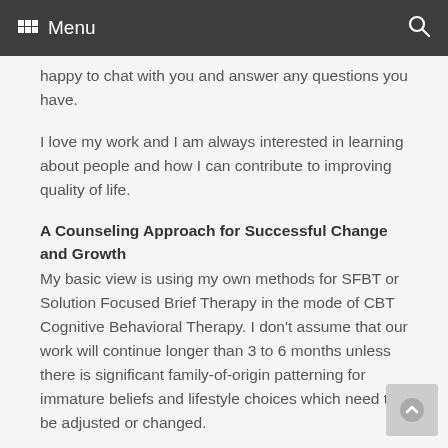Menu
happy to chat with you and answer any questions you have.
I love my work and I am always interested in learning about people and how I can contribute to improving quality of life.
A Counseling Approach for Successful Change and Growth
My basic view is using my own methods for SFBT or Solution Focused Brief Therapy in the mode of CBT Cognitive Behavioral Therapy. I don't assume that our work will continue longer than 3 to 6 months unless there is significant family-of-origin patterning for immature beliefs and lifestyle choices which need to be adjusted or changed.